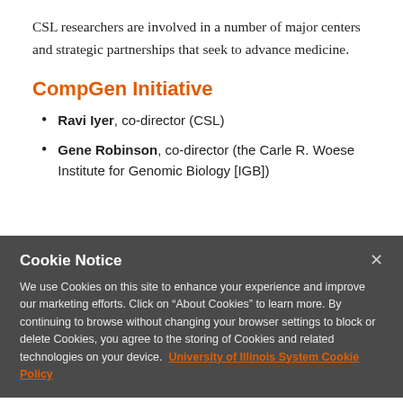CSL researchers are involved in a number of major centers and strategic partnerships that seek to advance medicine.
CompGen Initiative
Ravi Iyer, co-director (CSL)
Gene Robinson, co-director (the Carle R. Woese Institute for Genomic Biology [IGB])
Cookie Notice
We use Cookies on this site to enhance your experience and improve our marketing efforts. Click on “About Cookies” to learn more. By continuing to browse without changing your browser settings to block or delete Cookies, you agree to the storing of Cookies and related technologies on your device. University of Illinois System Cookie Policy